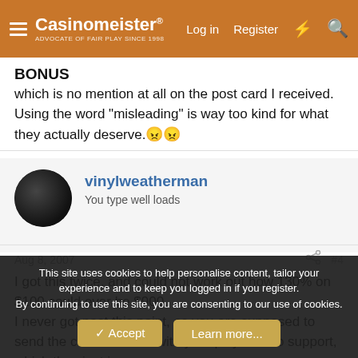Casinomeister® — Log in | Register
BONUS
which is no mention at all on the post card I received. Using the word "misleading" is way too kind for what they actually deserve.😠😠
vinylweatherman
You type well loads
Aug 8, 2007  #4
I got this twice, and could not work out how 130% on $100 could ever be $900.
I never got past this point, as you are supposed to send the code IDB 900 with your player ID to support, which they just i
This site uses cookies to help personalise content, tailor your experience and to keep you logged in if you register.
By continuing to use this site, you are consenting to our use of cookies.
✓ Accept   Learn more...